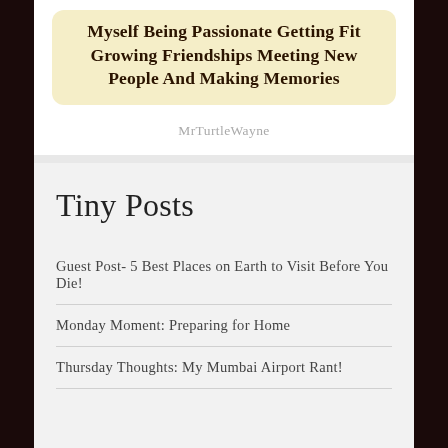[Figure (illustration): A rounded-rectangle card with a tan/gold gradient background containing handwritten-style bold text about being passionate, getting fit, growing friendships, meeting new people and making memories]
MrTurtleWayne
Tiny Posts
Guest Post- 5 Best Places on Earth to Visit Before You Die!
Monday Moment: Preparing for Home
Thursday Thoughts: My Mumbai Airport Rant!